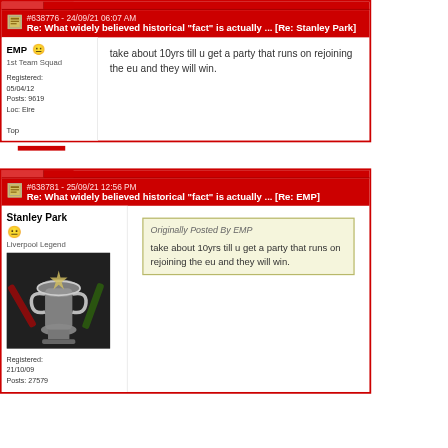Re: What widely believed historical "fact" is actually ... [Re: Stanley Park] #638776 - 24/09/21 06:07 AM
EMP
1st Team Squad
Registered: 05/04/12
Posts: 9619
Loc: Eire
Top
take about 10yrs till u get a party that runs on rejoining the eu and they will win.
Re: What widely believed historical "fact" is actually ... [Re: EMP] #638781 - 25/09/21 12:56 PM
Stanley Park
Liverpool Legend
Registered: 21/10/09
Posts: 27579
Originally Posted By EMP
take about 10yrs till u get a party that runs on rejoining the eu and they will win.